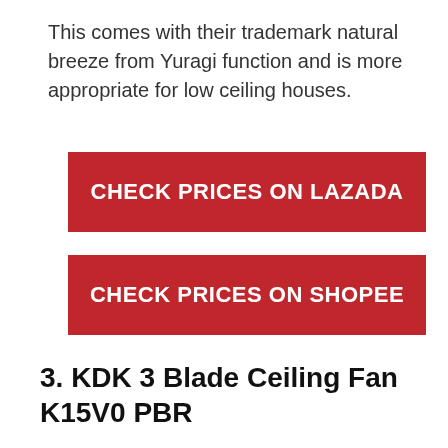This comes with their trademark natural breeze from Yuragi function and is more appropriate for low ceiling houses.
[Figure (other): Red button: CHECK PRICES ON LAZADA]
[Figure (other): Red button: CHECK PRICES ON SHOPEE]
3. KDK 3 Blade Ceiling Fan K15V0 PBR